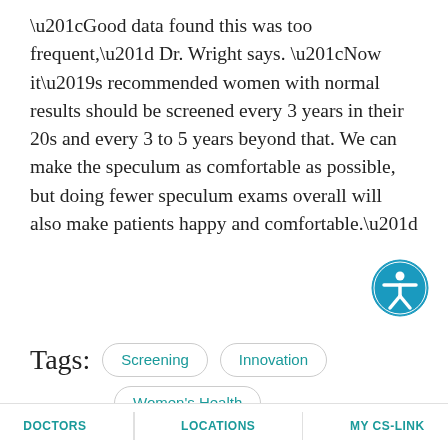“Good data found this was too frequent,” Dr. Wright says. “Now it’s recommended women with normal results should be screened every 3 years in their 20s and every 3 to 5 years beyond that. We can make the speculum as comfortable as possible, but doing fewer speculum exams overall will also make patients happy and comfortable.”
[Figure (other): Accessibility icon button - blue circle with white person/wheelchair icon]
Tags:
Screening
Innovation
Women's Health
[Figure (other): Social share buttons: Facebook SHARE, Twitter TWEET, LinkedIn POST, Reddit icon, up arrow button, email button, share button]
DOCTORS | LOCATIONS | MY CS-LINK